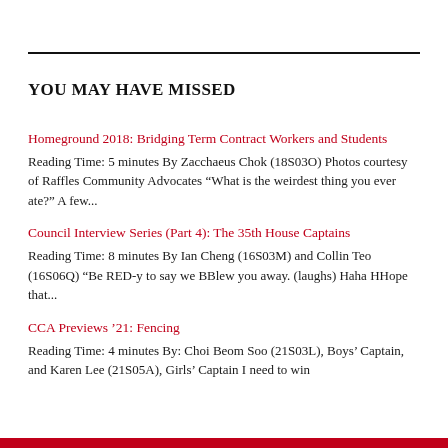YOU MAY HAVE MISSED
Homeground 2018: Bridging Term Contract Workers and Students
Reading Time: 5 minutes By Zacchaeus Chok (18S03O) Photos courtesy of Raffles Community Advocates “What is the weirdest thing you ever ate?” A few...
Council Interview Series (Part 4): The 35th House Captains
Reading Time: 8 minutes By Ian Cheng (16S03M) and Collin Teo (16S06Q) “Be RED-y to say we BBlew you away. (laughs) Haha HHope that...
CCA Previews ’21: Fencing
Reading Time: 4 minutes By: Choi Beom Soo (21S03L), Boys’ Captain, and Karen Lee (21S05A), Girls’ Captain I need to win